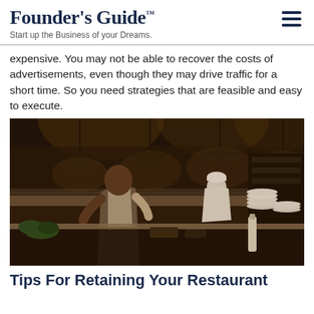Founder's Guide™ — Start up the Business of your Dreams.
expensive. You may not be able to recover the costs of advertisements, even though they may drive traffic for a short time. So you need strategies that are feasible and easy to execute.
[Figure (photo): Two chefs working in a professional restaurant kitchen with hanging pendant lights, stainless steel surfaces, and stacked plates.]
Tips For Retaining Your Restaurant